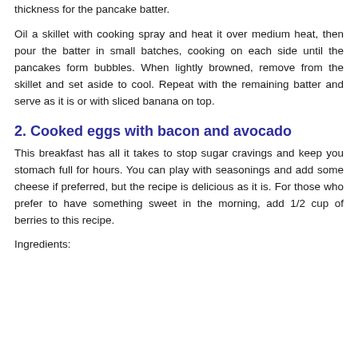thickness for the pancake batter.
Oil a skillet with cooking spray and heat it over medium heat, then pour the batter in small batches, cooking on each side until the pancakes form bubbles. When lightly browned, remove from the skillet and set aside to cool. Repeat with the remaining batter and serve as it is or with sliced banana on top.
2. Cooked eggs with bacon and avocado
This breakfast has all it takes to stop sugar cravings and keep you stomach full for hours. You can play with seasonings and add some cheese if preferred, but the recipe is delicious as it is. For those who prefer to have something sweet in the morning, add 1/2 cup of berries to this recipe.
Ingredients: